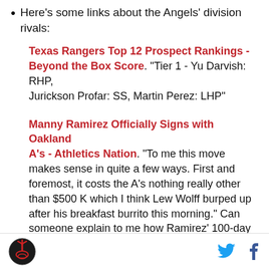Here's some links about the Angels' division rivals:
Texas Rangers Top 12 Prospect Rankings - Beyond the Box Score. "Tier 1 - Yu Darvish: RHP, Jurickson Profar: SS, Martin Perez: LHP"
Manny Ramirez Officially Signs with Oakland A's - Athletics Nation. "To me this move makes sense in quite a few ways. First and foremost, it costs the A's nothing really other than $500 K which I think Lew Wolff burped up after his breakfast burrito this morning." Can someone explain to me how Ramirez' 100-day suspension got reduced to 50 days?
Logo | Twitter | Facebook